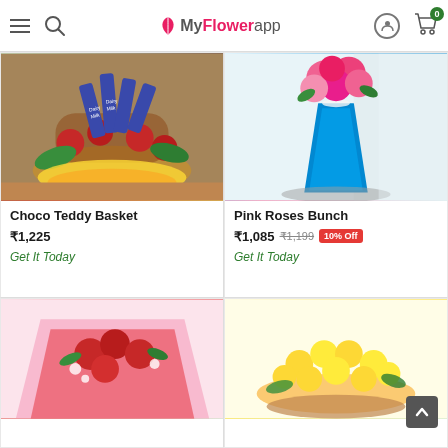MyFlowerapp
[Figure (photo): Choco Teddy Basket – flower basket with red roses, Cadbury Dairy Milk chocolates, and a teddy bear on an orange surface]
Choco Teddy Basket
₹1,225
Get It Today
[Figure (photo): Pink Roses Bunch – bunch of pink roses wrapped in a blue cone-shaped wrap, placed on a gray round surface]
Pink Roses Bunch
₹1,085  ₹1,199  10% Off
Get It Today
[Figure (photo): Red roses bunch wrapped in red/pink paper with white filler flowers, partially visible]
[Figure (photo): Yellow roses large bunch in a basket, partially visible]